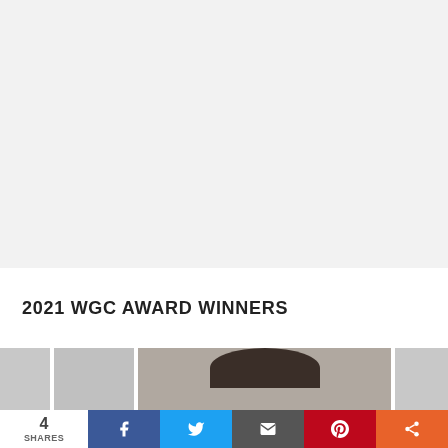[Figure (photo): Large light gray placeholder area occupying the upper portion of the page]
2021 WGC AWARD WINNERS
[Figure (photo): Row of four thumbnail photos at bottom: two gray placeholders, one showing top of a person's head with dark hair, one gray placeholder]
[Figure (infographic): Social sharing bar with share count (4 SHARES) and buttons for Facebook, Twitter, Email, Pinterest, and More]